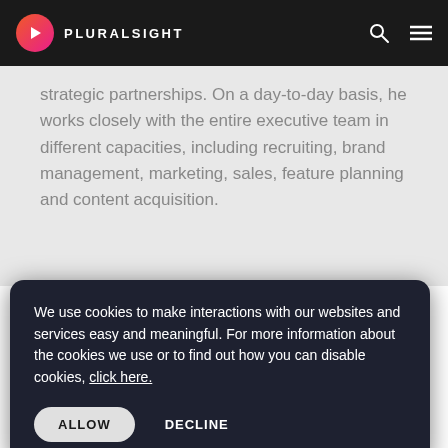[Figure (logo): Pluralsight logo with pink/red circular play button icon and white text 'PLURALSIGHT' on dark background navigation bar]
strategic partnerships. On a day-to-day basis, he works closely with the entire executive team in different capacities, including recruiting, brand management, marketing, sales, feature planning and content acquisition.
We use cookies to make interactions with our websites and services easy and meaningful. For more information about the cookies we use or to find out how you can disable cookies, click here.
ALLOW
DECLINE